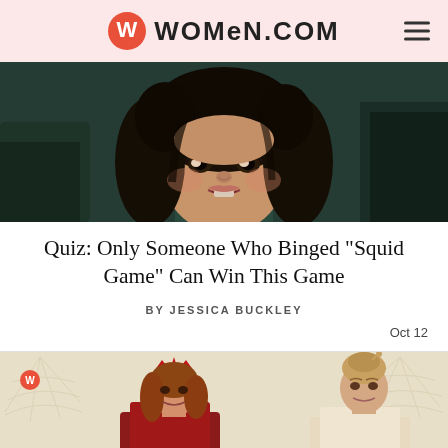WOMEN.COM
[Figure (photo): Close-up of a woman with long dark curly hair and an expression of shock or distress, from the TV show Squid Game. She appears to be inside a vehicle.]
Quiz: Only Someone Who Binged "Squid Game" Can Win This Game
BY JESSICA BUCKLEY
Oct 12
[Figure (photo): Two women in Halloween costumes on a spiderweb-patterned background. Left: woman in red Scarlet Witch crown/headpiece. Right: woman in an elegant up-do hairstyle. There is a small red Women.com logo badge in the top left corner.]